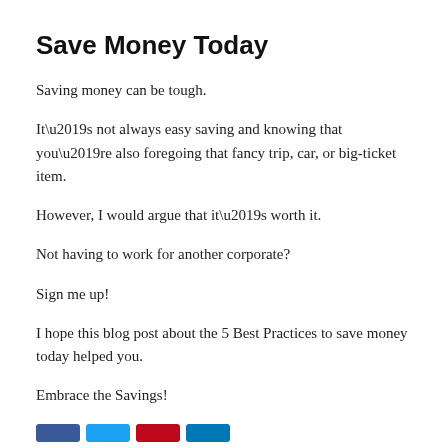Save Money Today
Saving money can be tough.
It’s not always easy saving and knowing that you’re also foregoing that fancy trip, car, or big-ticket item.
However, I would argue that it’s worth it.
Not having to work for another corporate?
Sign me up!
I hope this blog post about the 5 Best Practices to save money today helped you.
Embrace the Savings!
[Figure (other): Row of four social media share buttons (Facebook, Twitter, Pinterest, LinkedIn)]